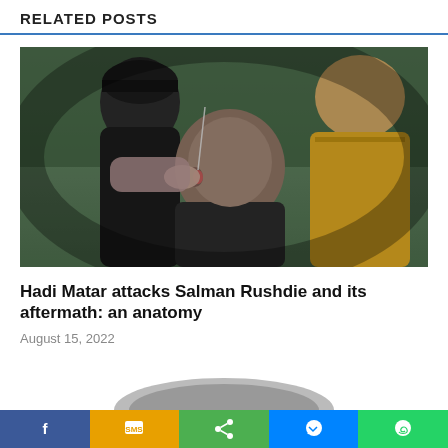RELATED POSTS
[Figure (photo): Photo of Hadi Matar being apprehended, surrounded by people including a woman in a yellow jacket and a man in a black cap]
Hadi Matar attacks Salman Rushdie and its aftermath: an anatomy
August 15, 2022
[Figure (photo): Partial view of another related post image at bottom of page]
Social share bar: Facebook, SMS, Share, Messenger, WhatsApp